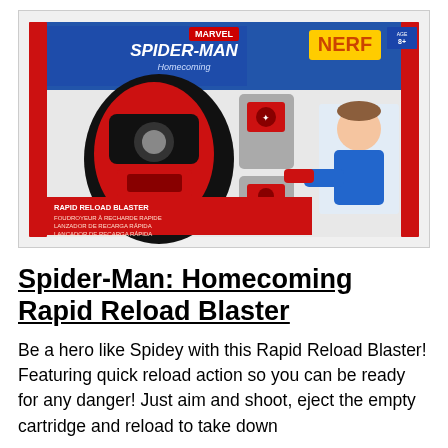[Figure (photo): Product box image of the Spider-Man: Homecoming Rapid Reload Blaster NERF toy. The box shows the blaster device in red/black colors alongside accessories, with a boy wearing the blaster on his wrist. Box text reads: RAPID RELOAD BLASTER, FOUDROYEUR À RECHARDE RAPIDE, LANZADOR DE RECARGA RÁPIDA, LANÇADOR DE RECARGA RÁPIDA. Spider-Man Homecoming and NERF branding visible on the blue box.]
Spider-Man: Homecoming Rapid Reload Blaster
Be a hero like Spidey with this Rapid Reload Blaster! Featuring quick reload action so you can be ready for any danger! Just aim and shoot, eject the empty cartridge and reload to take down